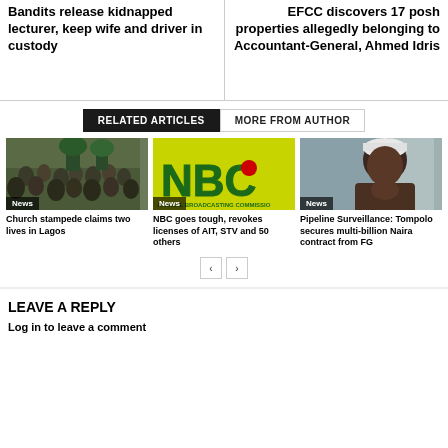Bandits release kidnapped lecturer, keep wife and driver in custody
EFCC discovers 17 posh properties allegedly belonging to Accountant-General, Ahmed Idris
RELATED ARTICLES
MORE FROM AUTHOR
[Figure (photo): Crowd of people outdoors]
News
Church stampede claims two lives in Lagos
[Figure (logo): NBC - National Broadcasting Commission logo on yellow-green background]
News
NBC goes tough, revokes licenses of AIT, STV and 50 others
[Figure (photo): Man in white cap looking sideways]
News
Pipeline Surveillance: Tompolo secures multi-billion Naira contract from FG
LEAVE A REPLY
Log in to leave a comment